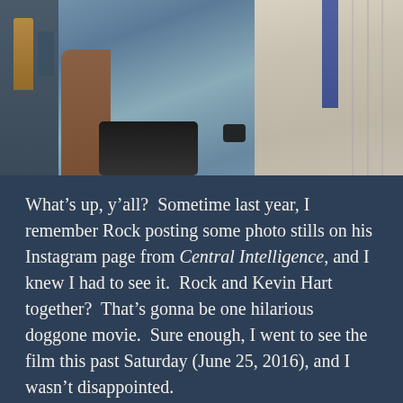[Figure (photo): Photo of two men standing together — one large muscular man in a light blue sleeveless shirt with a fanny pack and watch, and another man in a white shirt and tie on the right.]
What's up, y'all?  Sometime last year, I remember Rock posting some photo stills on his Instagram page from Central Intelligence, and I knew I had to see it.  Rock and Kevin Hart together?  That's gonna be one hilarious doggone movie.  Sure enough, I went to see the film this past Saturday (June 25, 2016), and I wasn't disappointed.
The movie basically tells the story of Calvin (Kevin Hart), who was on top of the world when